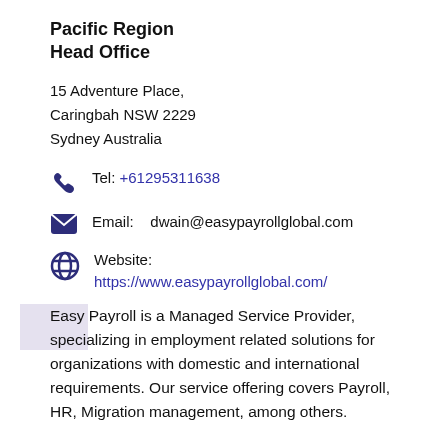Pacific Region
Head Office
15 Adventure Place,
Caringbah NSW 2229
Sydney Australia
Tel: +61295311638
Email:   dwain@easypayrollglobal.com
Website:
https://www.easypayrollglobal.com/
Easy Payroll is a Managed Service Provider, specializing in employment related solutions for organizations with domestic and international requirements. Our service offering covers Payroll, HR, Migration management, among others.